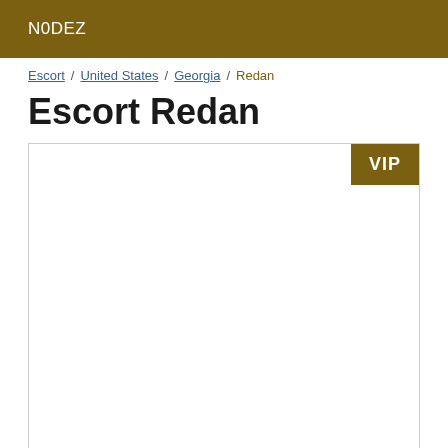N0DEZ
Escort / United States / Georgia / Redan
Escort Redan
[Figure (other): Card/listing area with a VIP badge in the top-right corner, white interior]